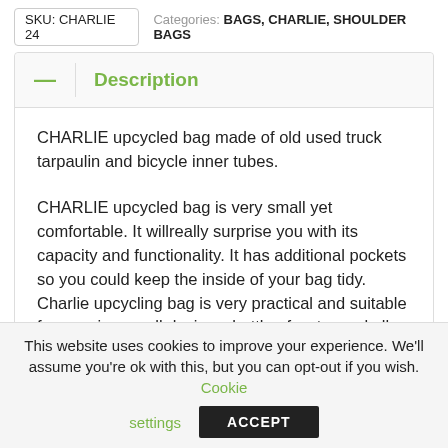SKU: CHARLIE 24   Categories: BAGS, CHARLIE, SHOULDER BAGS
Description
CHARLIE upcycled bag made of old used truck tarpaulin and bicycle inner tubes.
CHARLIE upcycled bag is very small yet comfortable. It willreally surprise you with its capacity and functionality. It has additional pockets so you could keep the inside of your bag tidy. Charlie upcycling bag is very practical and suitable for carrying small devices, bottle of water and all essentials.
Inner tube bags are great alternative to leather and faux leather bags. Our bicycle inner tube bags are totally vegan and eco friendly. We do not use any chemicals in process of
This website uses cookies to improve your experience. We'll assume you're ok with this, but you can opt-out if you wish. Cookie settings  ACCEPT